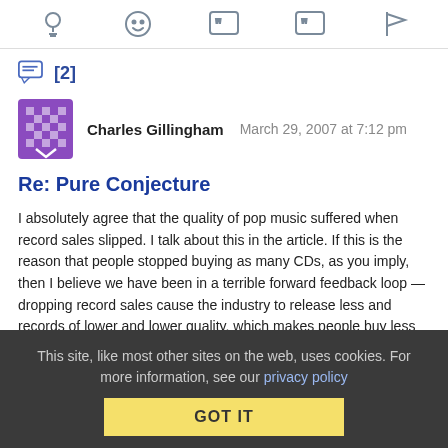[icon bar with lightbulb, emoji, quote, quote, flag icons]
[2]
Charles Gillingham   March 29, 2007 at 7:12 pm
Re: Pure Conjecture
I absolutely agree that the quality of pop music suffered when record sales slipped. I talk about this in the article. If this is the reason that people stopped buying as many CDs, as you imply, then I believe we have been in a terrible forward feedback loop — dropping record sales cause the industry to release less and records of lower and lower quality, which makes people buy less music, which causes the industry to seek an even lower common
This site, like most other sites on the web, uses cookies. For more information, see our privacy policy
GOT IT